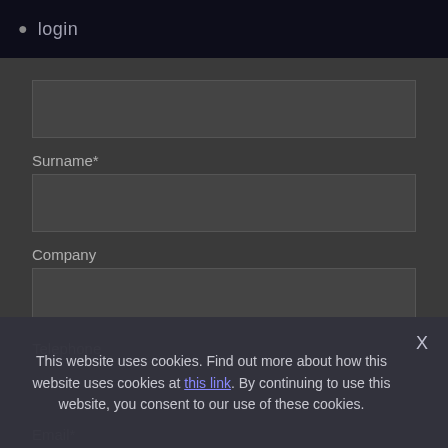login
Surname*
Company
Telephone
Email*
This website uses cookies. Find out more about how this website uses cookies at this link. By continuing to use this website, you consent to our use of these cookies.